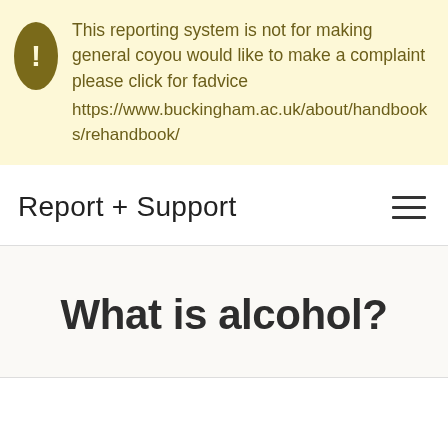This reporting system is not for making general co... you would like to make a complaint please click for f... advice https://www.buckingham.ac.uk/about/handbooks/re... handbook/
Report + Support
What is alcohol?